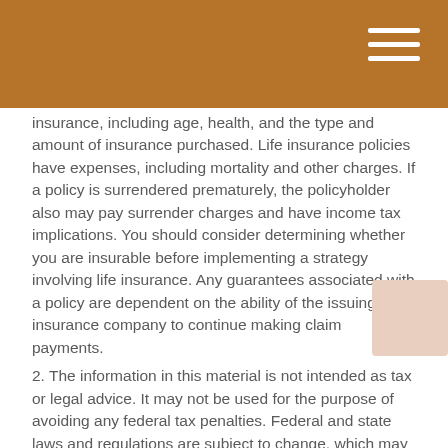insurance, including age, health, and the type and amount of insurance purchased. Life insurance policies have expenses, including mortality and other charges. If a policy is surrendered prematurely, the policyholder also may pay surrender charges and have income tax implications. You should consider determining whether you are insurable before implementing a strategy involving life insurance. Any guarantees associated with a policy are dependent on the ability of the issuing insurance company to continue making claim payments.
2. The information in this material is not intended as tax or legal advice. It may not be used for the purpose of avoiding any federal tax penalties. Federal and state laws and regulations are subject to change, which may have an impact on after-tax investment returns. Please consult legal or tax professionals for specific information regarding your individual situation
The content is developed from sources believed to be providing accurate information. The information in this material is not intended as tax or legal advice. It may not be used for the purpose